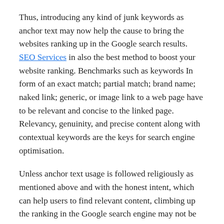Thus, introducing any kind of junk keywords as anchor text may now help the cause to bring the websites ranking up in the Google search results. SEO Services in also the best method to boost your website ranking. Benchmarks such as keywords In form of an exact match; partial match; brand name; naked link; generic, or image link to a web page have to be relevant and concise to the linked page. Relevancy, genuinity, and precise content along with contextual keywords are the keys for search engine optimisation.
Unless anchor text usage is followed religiously as mentioned above and with the honest intent, which can help users to find relevant content, climbing up the ranking in the Google search engine may not be an easy task.